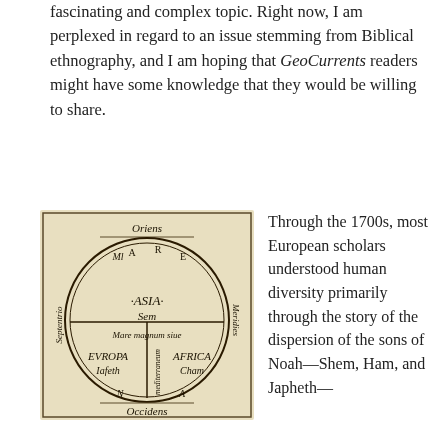fascinating and complex topic. Right now, I am perplexed in regard to an issue stemming from Biblical ethnography, and I am hoping that GeoCurrents readers might have some knowledge that they would be willing to share.
[Figure (illustration): Medieval T-O map (mappa mundi) showing the three continents: ASIA (Sem/Shem) in top half, EVROPA (Iafeth/Japheth) in bottom left, AFRICA (Cham/Ham) in bottom right, surrounded by Mare magnum sive mediterraneum. Cardinal directions labeled: Oriens (East, top), Occidens (West, bottom), Septentrio (North, left), Meridies (South, right).]
Through the 1700s, most European scholars understood human diversity primarily through the story of the dispersion of the sons of Noah—Shem, Ham, and Japheth—